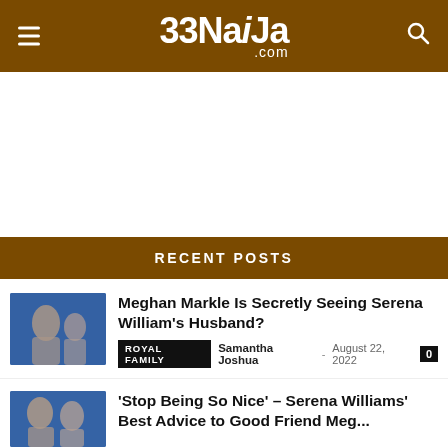33Naija.com
[Figure (other): Advertisement placeholder area (white/blank)]
RECENT POSTS
[Figure (photo): Thumbnail photo of Meghan Markle in crowd, blue tones]
Meghan Markle Is Secretly Seeing Serena William's Husband?
ROYAL FAMILY  Samantha Joshua  August 22, 2022  0
[Figure (photo): Thumbnail photo of two women, blue tones]
'Stop Being So Nice' – Serena Williams' Best Advice to Good Friend Meghan...